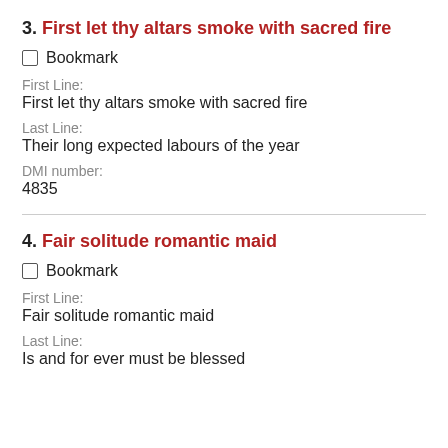3. First let thy altars smoke with sacred fire
Bookmark
First Line:
First let thy altars smoke with sacred fire
Last Line:
Their long expected labours of the year
DMI number:
4835
4. Fair solitude romantic maid
Bookmark
First Line:
Fair solitude romantic maid
Last Line:
Is and for ever must be blessed